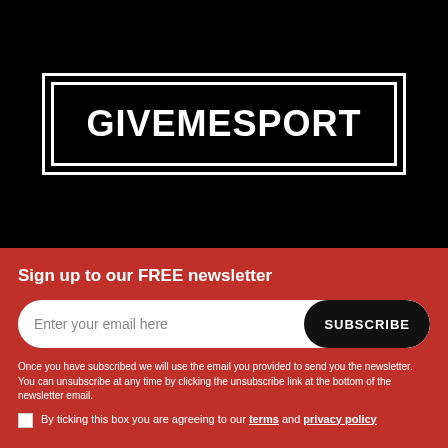[Figure (logo): GiveMeSport logo: white text on black background inside a white-bordered rectangle]
Sign up to our FREE newsletter
Enter your email here
Once you have subscribed we will use the email you provided to send you the newsletter. You can unsubscribe at any time by clicking the unsubscribe link at the bottom of the newsletter email.
By ticking this box you are agreeing to our terms and privacy policy